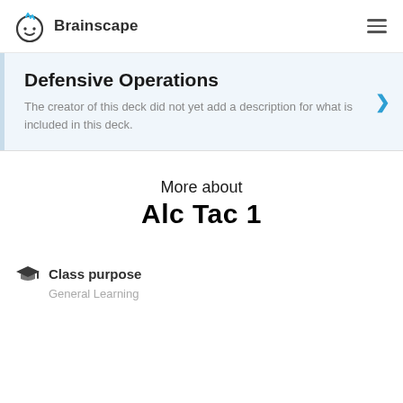Brainscape
Defensive Operations
The creator of this deck did not yet add a description for what is included in this deck.
More about
Alc Tac 1
Class purpose
General Learning